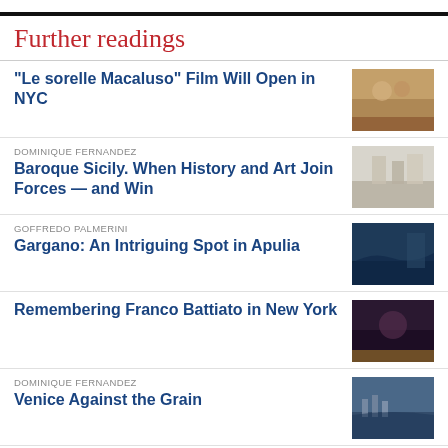Further readings
"Le sorelle Macaluso" Film Will Open in NYC
DOMINIQUE FERNANDEZ
Baroque Sicily. When History and Art Join Forces — and Win
GOFFREDO PALMERINI
Gargano: An Intriguing Spot in Apulia
Remembering Franco Battiato in New York
DOMINIQUE FERNANDEZ
Venice Against the Grain
ERVIGE GIUNTA